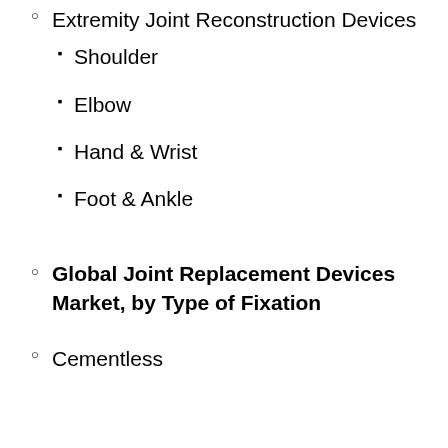Extremity Joint Reconstruction Devices
Shoulder
Elbow
Hand & Wrist
Foot & Ankle
Global Joint Replacement Devices Market, by Type of Fixation
Cementless